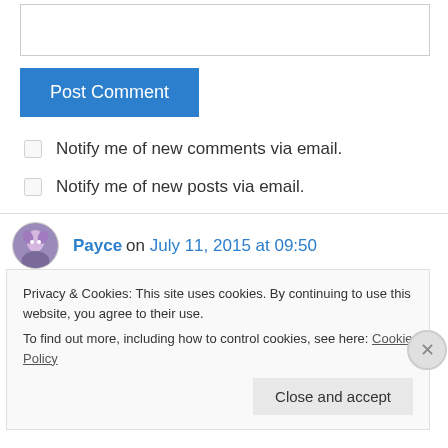[Figure (screenshot): Empty text input box for website/comment field]
Post Comment
Notify me of new comments via email.
Notify me of new posts via email.
Payce on July 11, 2015 at 09:50
Privacy & Cookies: This site uses cookies. By continuing to use this website, you agree to their use.
To find out more, including how to control cookies, see here: Cookie Policy
Close and accept